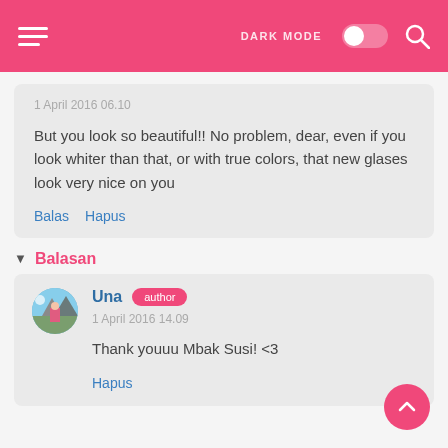DARK MODE (toggle)
1 April 2016 06.10
But you look so beautiful!! No problem, dear, even if you look whiter than that, or with true colors, that new glases look very nice on you
Balas   Hapus
Balasan
Una author
1 April 2016 14.09
Thank youuu Mbak Susi! <3
Hapus